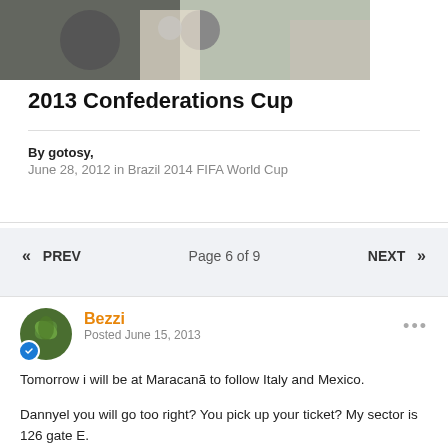[Figure (photo): Partial photo strip showing people at top of page]
2013 Confederations Cup
By gotosy,
June 28, 2012 in Brazil 2014 FIFA World Cup
« PREV   Page 6 of 9   NEXT »
Bezzi
Posted June 15, 2013
Tomorrow i will be at Maracanã to follow Italy and Mexico.
Dannyel you will go too right? You pick up your ticket? My sector is 126 gate E.